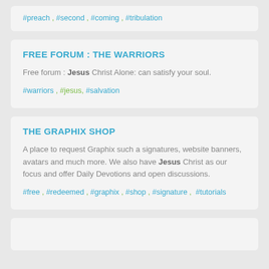#preach , #second , #coming , #tribulation
FREE FORUM : THE WARRIORS
Free forum : Jesus Christ Alone: can satisfy your soul.
#warriors , #jesus, #salvation
THE GRAPHIX SHOP
A place to request Graphix such a signatures, website banners, avatars and much more. We also have Jesus Christ as our focus and offer Daily Devotions and open discussions.
#free , #redeemed , #graphix , #shop , #signature , #tutorials